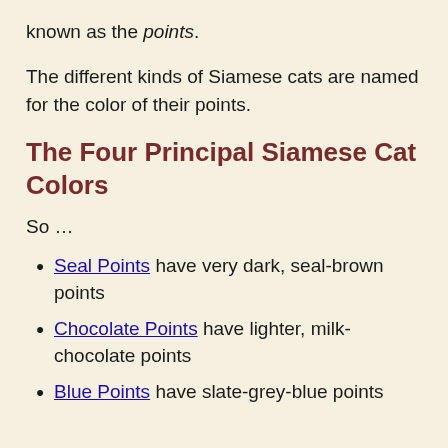known as the points.
The different kinds of Siamese cats are named for the color of their points.
The Four Principal Siamese Cat Colors
So …
Seal Points have very dark, seal-brown points
Chocolate Points have lighter, milk-chocolate points
Blue Points have slate-grey-blue points